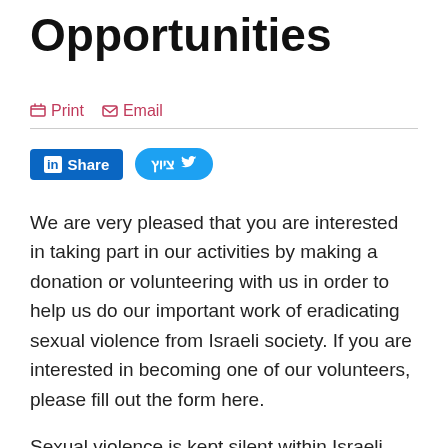Opportunities
Print   Email
in Share   ציוץ
We are very pleased that you are interested in taking part in our activities by making a donation or volunteering with us in order to help us do our important work of eradicating sexual violence from Israeli society. If you are interested in becoming one of our volunteers, please fill out the form here.
Sexual violence is kept silent within Israeli society and the voices of victims remain unheard in the public arena. There is widespread ignorance among the public and decision makers concerning this issue. Our activities are